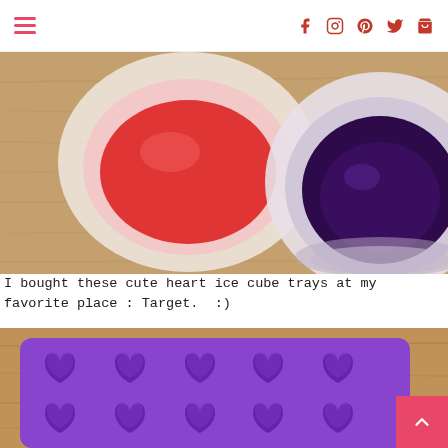Navigation menu with social icons: Facebook, Instagram, Pinterest, Twitter, Cart
[Figure (photo): Overhead view of two white bowls on a wooden table surface, one containing red liquid and one containing dark purple liquid]
I bought these cute heart ice cube trays at my favorite place : Target.  :)
[Figure (photo): Purple silicone heart-shaped ice cube tray on a wooden surface, showing two rows of heart-shaped molds]